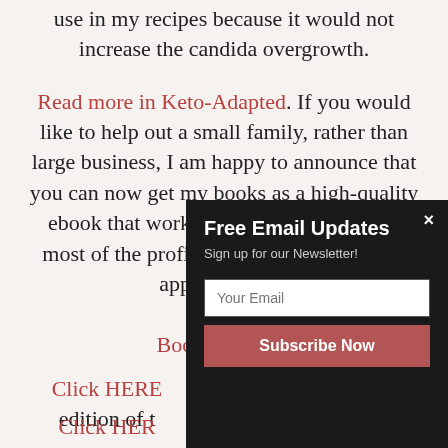use in my recipes because it would not increase the candida overgrowth.
Read more in Keto-Adapted. If you would like to help out a small family, rather than large business, I am happy to announce that you can now get my books as a high-quality ebook that works on any platform. Plus, most of the profits don't go to Amazon or apple! Click H[...] Books" above t[...]
Click HERE [...] edition of t[...]
Click HER[...]
[Figure (screenshot): A popup modal with dark background showing 'Free Email Updates' title, 'Sign up for our Newsletter!' subtitle, an email input field labeled 'Your Email', and a 'Subscribe Now' button in dark red. There is an X close button in the top right corner.]